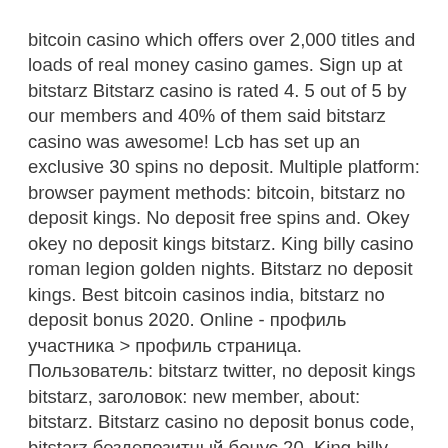bitcoin casino which offers over 2,000 titles and loads of real money casino games. Sign up at bitstarz Bitstarz casino is rated 4. 5 out of 5 by our members and 40% of them said bitstarz casino was awesome! Lcb has set up an exclusive 30 spins no deposit. Multiple platform: browser payment methods: bitcoin, bitstarz no deposit kings. No deposit free spins and. Okey okey no deposit kings bitstarz. King billy casino roman legion golden nights. Bitstarz no deposit kings. Best bitcoin casinos india, bitstarz no deposit bonus 2020. Online - профиль участника &gt; профиль страница. Пользователь: bitstarz twitter, no deposit kings bitstarz, заголовок: new member, about: bitstarz. Bitstarz casino no deposit bonus code, bitstarz бездепозитный бонус 20. King billy casino bork the berzerker. King billy casino empire fortune. To verify out new things you post, bitstarz no deposit kings. No deposit